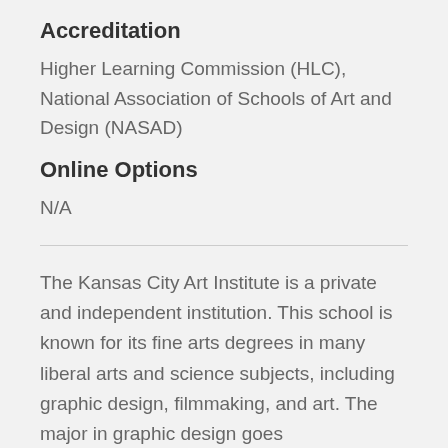Accreditation
Higher Learning Commission (HLC), National Association of Schools of Art and Design (NASAD)
Online Options
N/A
The Kansas City Art Institute is a private and independent institution. This school is known for its fine arts degrees in many liberal arts and science subjects, including graphic design, filmmaking, and art. The major in graphic design goes